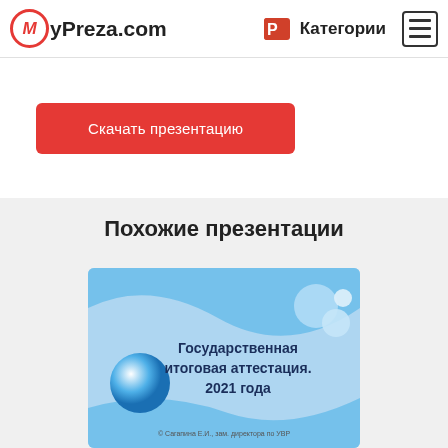MyPreza.com   Категории
Скачать презентацию
Похожие презентации
[Figure (screenshot): Thumbnail of presentation slide with blue wave design. Text: 'Государственная итоговая аттестация. 2021 года'. Small text at bottom: '© Сагапина Е.И., зам. директора по УВР']
Родительское, ученическое собрание. Государственная...
 5